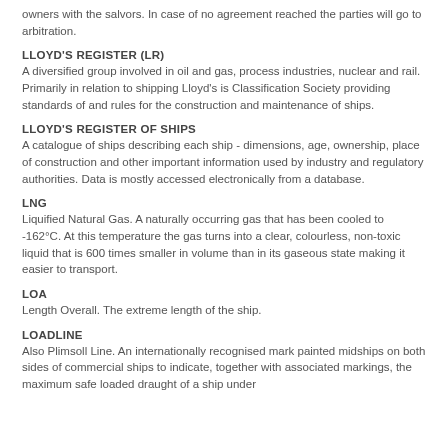owners with the salvors. In case of no agreement reached the parties will go to arbitration.
LLOYD'S REGISTER (LR)
A diversified group involved in oil and gas, process industries, nuclear and rail. Primarily in relation to shipping Lloyd's is Classification Society providing standards of and rules for the construction and maintenance of ships.
LLOYD'S REGISTER OF SHIPS
A catalogue of ships describing each ship - dimensions, age, ownership, place of construction and other important information used by industry and regulatory authorities. Data is mostly accessed electronically from a database.
LNG
Liquified Natural Gas. A naturally occurring gas that has been cooled to -162°C. At this temperature the gas turns into a clear, colourless, non-toxic liquid that is 600 times smaller in volume than in its gaseous state making it easier to transport.
LOA
Length Overall. The extreme length of the ship.
LOADLINE
Also Plimsoll Line. An internationally recognised mark painted midships on both sides of commercial ships to indicate, together with associated markings, the maximum safe loaded draught of a ship under